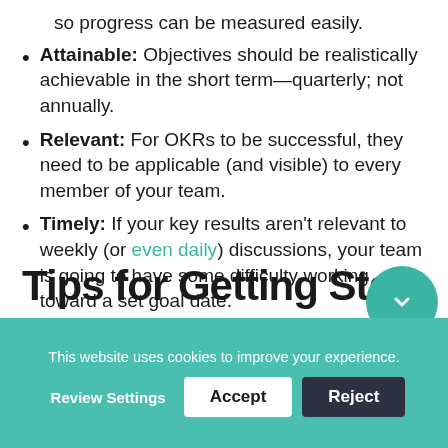so progress can be measured easily.
Attainable: Objectives should be realistically achievable in the short term—quarterly; not annually.
Relevant: For OKRs to be successful, they need to be applicable (and visible) to every member of your team.
Timely: If your key results aren't relevant to weekly (or even daily) discussions, your team is going to have some difficulty working toward a set goal date.
Tips for Getting Started
This website uses cookies to improve your experience.
Review Settings | Accept | Reject